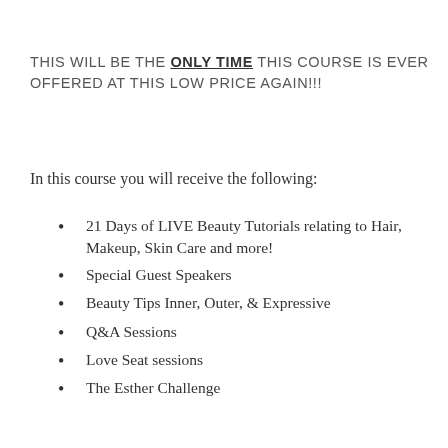THIS WILL BE THE ONLY TIME THIS COURSE IS EVER OFFERED AT THIS LOW PRICE AGAIN!!!
In this course you will receive the following:
21 Days of LIVE Beauty Tutorials relating to Hair, Makeup, Skin Care and more!
Special Guest Speakers
Beauty Tips Inner, Outer, & Expressive
Q&A Sessions
Love Seat sessions
The Esther Challenge